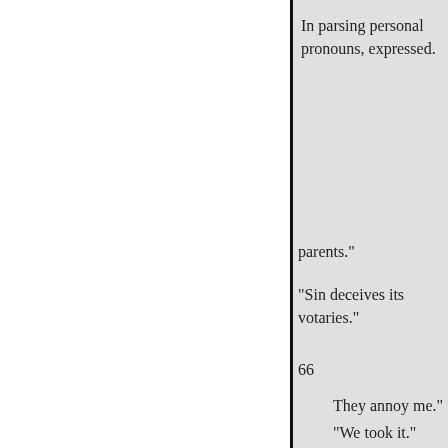In parsing personal pronouns, expressed.
parents."
"Sin deceives its votaries."
66
They annoy me."
"We took it."
"She relieved us."
"I walk."
"James runs."
"William hops."
4.